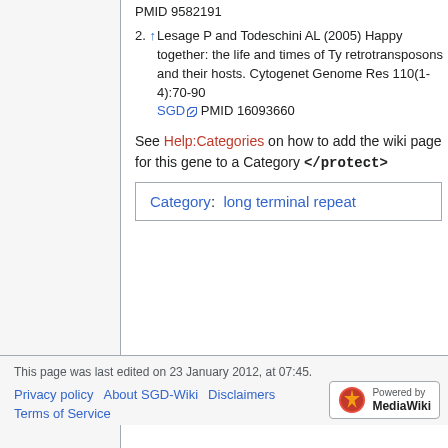PMID 9582191
2. ↑ Lesage P and Todeschini AL (2005) Happy together: the life and times of Ty retrotransposons and their hosts. Cytogenet Genome Res 110(1-4):70-90 SGD PMID 16093660
See Help:Categories on how to add the wiki page for this gene to a Category </protect>
| Category:  long terminal repeat |
| --- |
This page was last edited on 23 January 2012, at 07:45.
Privacy policy · About SGD-Wiki · Disclaimers · Terms of Service